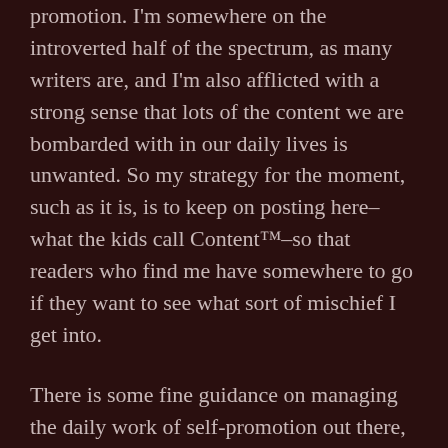promotion. I'm somewhere on the introverted half of the spectrum, as many writers are, and I'm also afflicted with a strong sense that lots of the content we are bombarded with in our daily lives is unwanted. So my strategy for the moment, such as it is, is to keep on posting here–what the kids call Content™–so that readers who find me have somewhere to go if they want to see what sort of mischief I get into.
There is some fine guidance on managing the daily work of self-promotion out there, to be sure. Not too long ago Sadie Hartmann–known to many on the webz as Mother Horror–posted this super handy guide to navigating the wilderness of social media, and I've come across others here and there. Like any aspect of the writing life, however, one's presence on the internet as a Hawker of One's Own Stuff probably